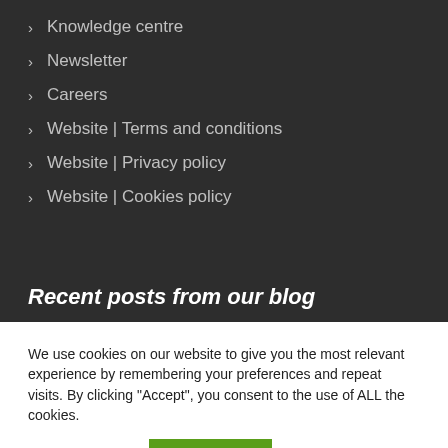> Knowledge centre
> Newsletter
> Careers
> Website | Terms and conditions
> Website | Privacy policy
> Website | Cookies policy
Recent posts from our blog
We use cookies on our website to give you the most relevant experience by remembering your preferences and repeat visits. By clicking “Accept”, you consent to the use of ALL the cookies.
Cookie settings  ACCEPT